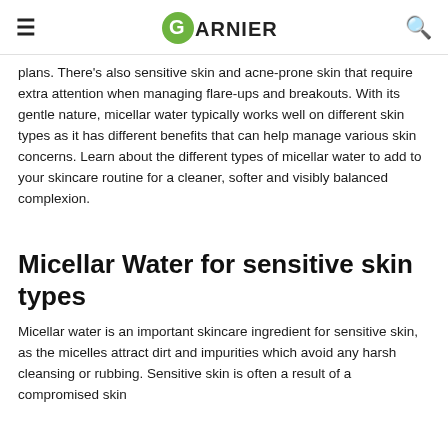GARNIER
plans. There's also sensitive skin and acne-prone skin that require extra attention when managing flare-ups and breakouts. With its gentle nature, micellar water typically works well on different skin types as it has different benefits that can help manage various skin concerns. Learn about the different types of micellar water to add to your skincare routine for a cleaner, softer and visibly balanced complexion.
Micellar Water for sensitive skin types
Micellar water is an important skincare ingredient for sensitive skin, as the micelles attract dirt and impurities which avoid any harsh cleansing or rubbing. Sensitive skin is often a result of a compromised skin